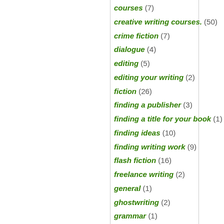courses (7)
creative writing courses. (50)
crime fiction (7)
dialogue (4)
editing (5)
editing your writing (2)
fiction (26)
finding a publisher (3)
finding a title for your book (1)
finding ideas (10)
finding writing work (9)
flash fiction (16)
freelance writing (2)
general (1)
ghostwriting (2)
grammar (1)
grammar usage (5)
historical novels (2)
hybrid publishing (1)
inspiration (1)